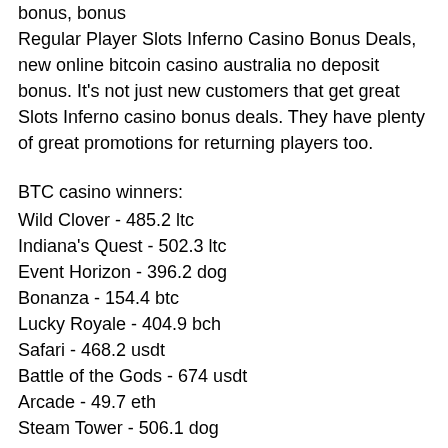bonus, bonus Regular Player Slots Inferno Casino Bonus Deals, new online bitcoin casino australia no deposit bonus. It's not just new customers that get great Slots Inferno casino bonus deals. They have plenty of great promotions for returning players too.
BTC casino winners:
Wild Clover - 485.2 ltc
Indiana's Quest - 502.3 ltc
Event Horizon - 396.2 dog
Bonanza - 154.4 btc
Lucky Royale - 404.9 bch
Safari - 468.2 usdt
Battle of the Gods - 674 usdt
Arcade - 49.7 eth
Steam Tower - 506.1 dog
Great88 - 433.2 eth
Toki Time - 40 eth
Disc of Athena - 601 bch
Archer - 451.5 dog